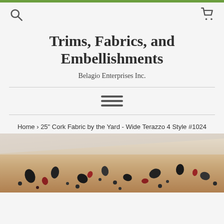Trims, Fabrics, and Embellishments — Belagio Enterprises Inc.
Trims, Fabrics, and Embellishments
Belagio Enterprises Inc.
Home › 25" Cork Fabric by the Yard - Wide Terazzo 4 Style #1024
[Figure (photo): Close-up photo of cork fabric with terrazzo pattern showing black, red, and dark spots on a beige/tan cork background, rolled at an angle.]